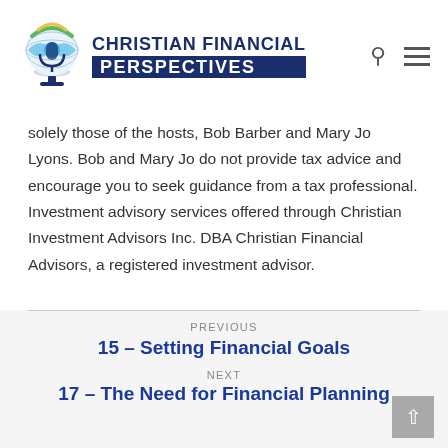CHRISTIAN FINANCIAL PERSPECTIVES
solely those of the hosts, Bob Barber and Mary Jo Lyons. Bob and Mary Jo do not provide tax advice and encourage you to seek guidance from a tax professional. Investment advisory services offered through Christian Investment Advisors Inc. DBA Christian Financial Advisors, a registered investment advisor.
PREVIOUS
15 – Setting Financial Goals
NEXT
17 – The Need for Financial Planning